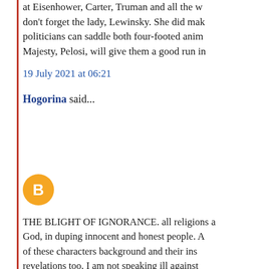at Eisenhower, Carter, Truman and all the w... don't forget the lady, Lewinsky. She did mak... politicians can saddle both four-footed anim... Majesty, Pelosi, will give them a good run in...
19 July 2021 at 06:21
Hogorina said...
[Figure (illustration): Blogger avatar icon - orange circle with white B letter in center]
THE BLIGHT OF IGNORANCE. all religions a... God, in duping innocent and honest people. ... of these characters background and their ins... revelations too. I am not speaking ill against... bastardised fools milk the souls of unsuspec... like to reiterate, Billy Graham has done his p... well satisfied with. And now, this Hagee is a... professional revolutionaries of oriental fu...